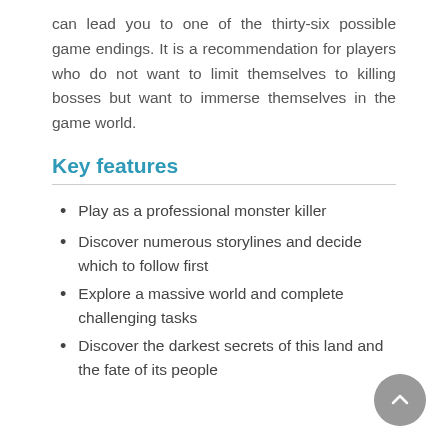can lead you to one of the thirty-six possible game endings. It is a recommendation for players who do not want to limit themselves to killing bosses but want to immerse themselves in the game world.
Key features
Play as a professional monster killer
Discover numerous storylines and decide which to follow first
Explore a massive world and complete challenging tasks
Discover the darkest secrets of this land and the fate of its people